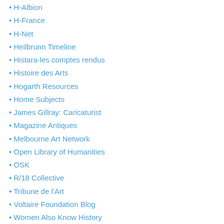H-Albion
H-France
H-Net
Heilbrunn Timeline
Histara-les comptes rendus
Histoire des Arts
Hogarth Resources
Home Subjects
James Gillray: Caricaturist
Magazine Antiques
Melbourne Art Network
Open Library of Humanities
OSK
R/18 Collective
Tribune de l'Art
Voltaire Foundation Blog
Women Also Know History
Links: 18th-C Studies